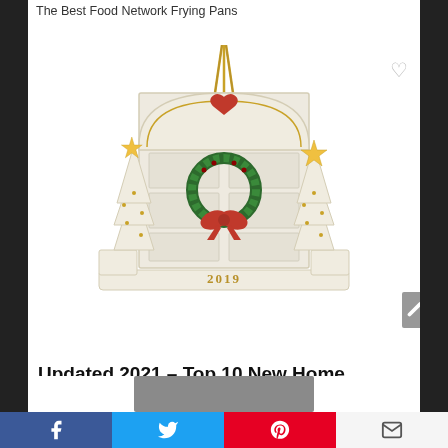The Best Food Network Frying Pans
[Figure (photo): A Lenox 2019 ceramic Christmas ornament shaped like a front door with wreath, red bow, two white Christmas trees with gold stars, and a gold hanging chain. The ornament has '2019' on the base.]
Updated 2021 – Top 10 New Home Ornament 2017 Personalized
[Figure (photo): Partial image of another product at bottom of page, cropped.]